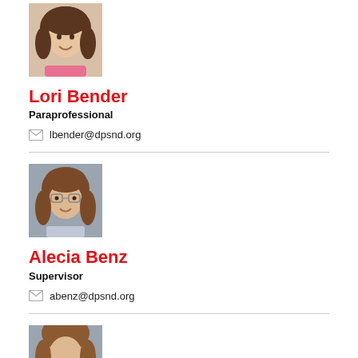[Figure (photo): Portrait photo of Lori Bender, a woman with brown hair, smiling, wearing a pink top]
Lori Bender
Paraprofessional
lbender@dpsnd.org
[Figure (photo): Portrait photo of Alecia Benz, a woman with brown hair, wearing glasses, smiling]
Alecia Benz
Supervisor
abenz@dpsnd.org
[Figure (photo): Partial portrait photo of a third person with brown hair, cropped at bottom of page]